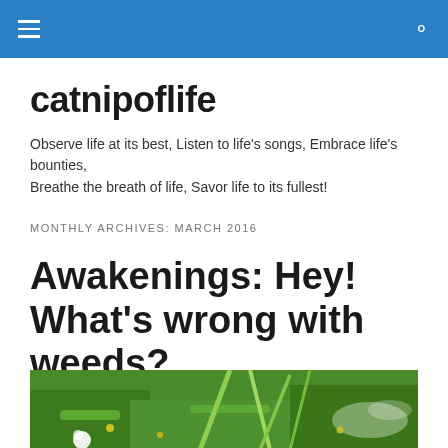catnipoflife — navigation bar with hamburger menu and search icon
catnipoflife
Observe life at its best, Listen to life's songs, Embrace life's bounties, Breathe the breath of life, Savor life to its fullest!
MONTHLY ARCHIVES: MARCH 2016
Awakenings: Hey! What's wrong with weeds?
[Figure (photo): A green lawn with weeds including a dandelion and tall grass blades, with a sprinkler or water spray visible]